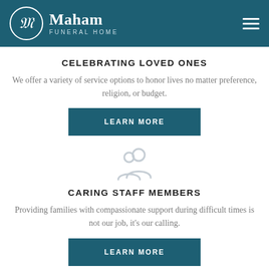[Figure (logo): Maham Funeral Home logo with stylized M in circle and navigation hamburger menu on teal header]
CELEBRATING LOVED ONES
We offer a variety of service options to honor lives no matter preference, religion, or budget.
LEARN MORE
[Figure (illustration): Grey people/group icon representing caring staff]
CARING STAFF MEMBERS
Providing families with compassionate support during difficult times is not our job, it's our calling.
LEARN MORE